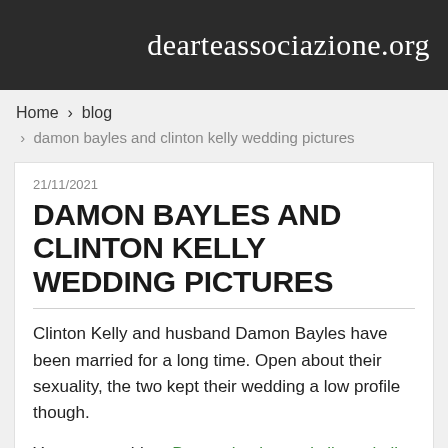dearteassociazione.org
Home › blog › damon bayles and clinton kelly wedding pictures
21/11/2021
DAMON BAYLES AND CLINTON KELLY WEDDING PICTURES
Clinton Kelly and husband Damon Bayles have been married for a long time. Open about their sexuality, the two kept their wedding a low profile though.
You are watching: Damon bayles and clinton kelly